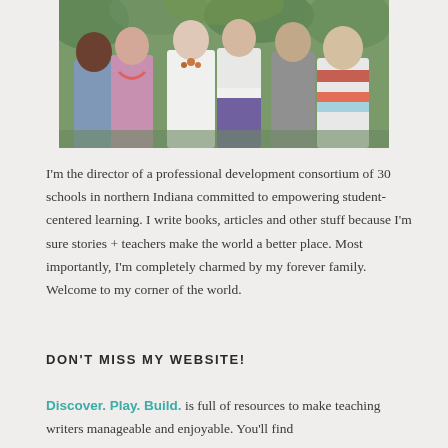[Figure (photo): Group photo of several people including adults and a child standing outdoors in front of green foliage]
I'm the director of a professional development consortium of 30 schools in northern Indiana committed to empowering student-centered learning. I write books, articles and other stuff because I'm sure stories + teachers make the world a better place. Most importantly, I'm completely charmed by my forever family. Welcome to my corner of the world.
DON'T MISS MY WEBSITE!
Discover. Play. Build. is full of resources to make teaching writers manageable and enjoyable. You'll find